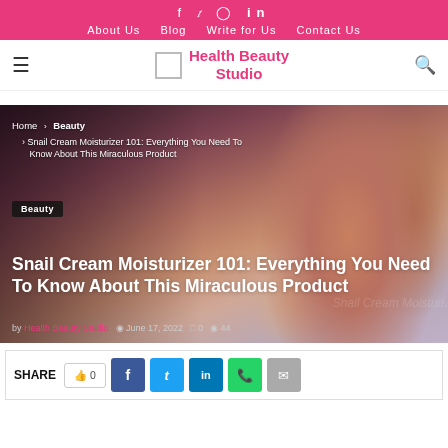f  t  (instagram)  in   |   About Us   Blog   Write for Us   Contact Us
Health Beauty Studio
[Figure (photo): Woman applying cream to her face, profile view. Overlaid breadcrumb navigation: Home > Beauty > Snail Cream Moisturizer 101: Everything You Need To Know About This Miraculous Product. Badge: Beauty. Article title: Snail Cream Moisturizer 101: Everything You Need To Know About This Miraculous Product. Meta: by Health Beauty Studio, June 17, 2022, 0 comments, 44 views.]
SHARE   👍 0   f   t   in   (whatsapp)   (email)